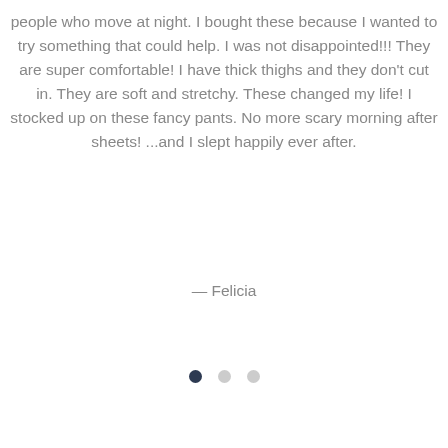people who move at night. I bought these because I wanted to try something that could help. I was not disappointed!!! They are super comfortable! I have thick thighs and they don't cut in. They are soft and stretchy. These changed my life! I stocked up on these fancy pants. No more scary morning after sheets! ...and I slept happily ever after.
— Felicia